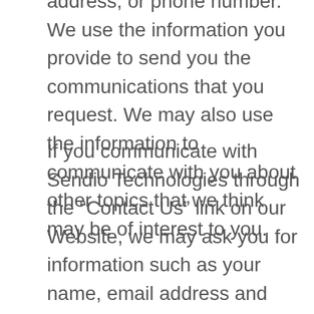address, or phone number. We use the information you provide to send you the communications that you request. We may also use the information to communicate with you about other topics that we think may be of interest to you.
If you communicate with Sendio Technologies through the “Contact Us” link on our Website, we may ask you for information such as your name, email address and telephone number so we can respond to your questions and comments. We may also use the information you provide so that we can communication with you about